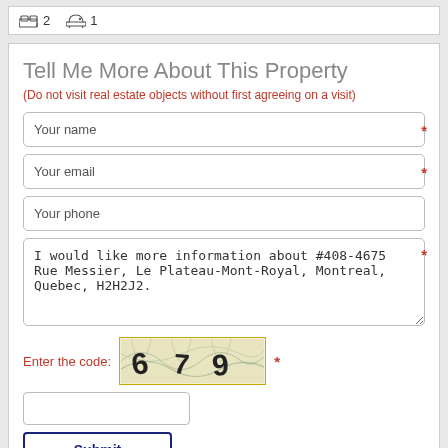2  1
Tell Me More About This Property
(Do not visit real estate objects without first agreeing on a visit)
Your name
Your email
Your phone
I would like more information about #408-4675 Rue Messier, Le Plateau-Mont-Royal, Montreal, Quebec, H2H2J2.
Enter the code:
[Figure (other): CAPTCHA image showing distorted numbers 6 7 9]
Submit